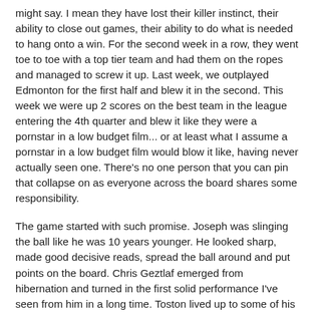might say. I mean they have lost their killer instinct, their ability to close out games, their ability to do what is needed to hang onto a win. For the second week in a row, they went toe to toe with a top tier team and had them on the ropes and managed to screw it up. Last week, we outplayed Edmonton for the first half and blew it in the second. This week we were up 2 scores on the best team in the league entering the 4th quarter and blew it like they were a pornstar in a low budget film... or at least what I assume a pornstar in a low budget film would blow it like, having never actually seen one. There's no one person that you can pin that collapse on as everyone across the board shares some responsibility.
The game started with such promise. Joseph was slinging the ball like he was 10 years younger. He looked sharp, made good decisive reads, spread the ball around and put points on the board. Chris Geztlaf emerged from hibernation and turned in the first solid performance I've seen from him in a long time. Toston lived up to some of his hype with some massive runs. The defense had their issues but generally kept the Stamps in check. They even chipped in on the